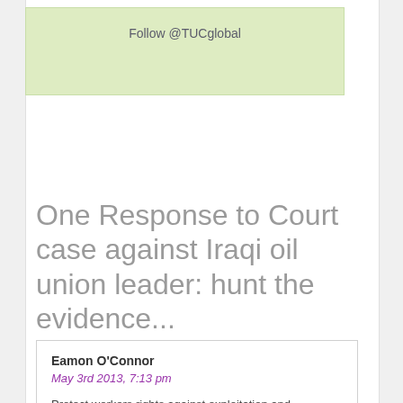Follow @TUCglobal
One Response to Court case against Iraqi oil union leader: hunt the evidence...
Eamon O'Connor
May 3rd 2013, 7:13 pm
Protect workers rights against exploitation and unfairness. Defend the constitution